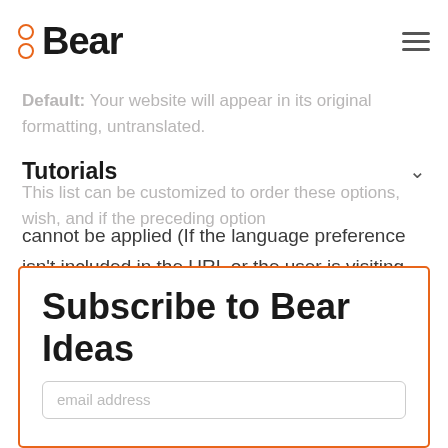Bear
Default: Your website will appear in its original, meaning, untranslated.
Tutorials
This list can be customized to order these options, wish, and if the preceding option cannot be applied (If the language preference isn't included in the URL or the user is visiting your website for the first time and doesn't have any established session parameters) then the succeeding option will activate.
Subscribe to Bear Ideas